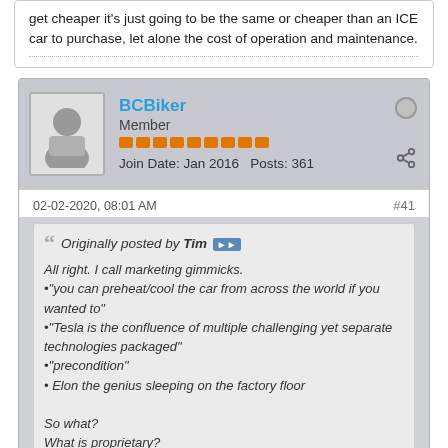get cheaper it's just going to be the same or cheaper than an ICE car to purchase, let alone the cost of operation and maintenance.
BCBiker
Member
Join Date: Jan 2016   Posts: 361
02-02-2020, 08:01 AM
#41
Originally posted by Tim
All right. I call marketing gimmicks.
•"you can preheat/cool the car from across the world if you wanted to"
•"Tesla is the confluence of multiple challenging yet separate technologies packaged"
•"precondition"
• Elon the genius sleeping on the factory floor

So what?
What is proprietary?